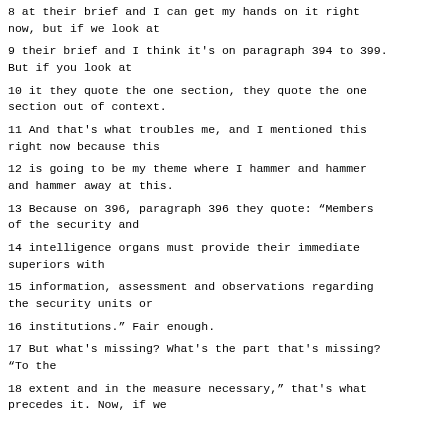8 at their brief and I can get my hands on it right now, but if we look at
9 their brief and I think it's on paragraph 394 to 399. But if you look at
10 it they quote the one section, they quote the one section out of context.
11 And that's what troubles me, and I mentioned this right now because this
12 is going to be my theme where I hammer and hammer and hammer away at this.
13 Because on 396, paragraph 396 they quote: "Members of the security and
14 intelligence organs must provide their immediate superiors with
15 information, assessment and observations regarding the security units or
16 institutions." Fair enough.
17 But what's missing? What's the part that's missing? "To the
18 extent and in the measure necessary," that's what precedes it. Now, if we